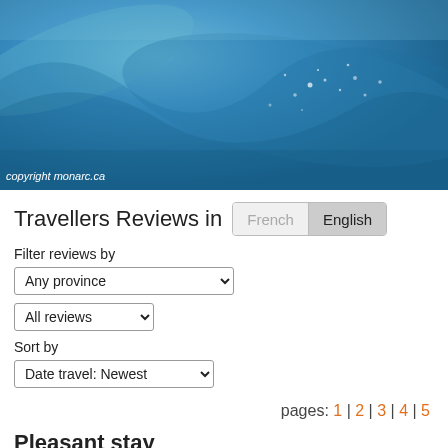[Figure (photo): Blue ocean water with light reflections and sparkling highlights, aerial or underwater view]
copyright monarc.ca
Travellers Reviews in  French  English
Filter reviews by
Any province
All reviews
Sort by
Date travel: Newest
pages: 1|2|3|4|5
Pleasant stay
[Figure (other): Star/butterfly rating showing 4 orange butterflies and 1 grey butterfly out of 5]